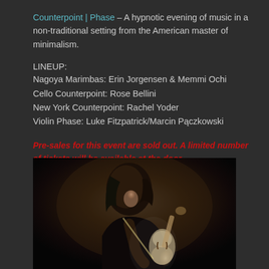Counterpoint | Phase – A hypnotic evening of music in a non-traditional setting from the American master of minimalism.
LINEUP:
Nagoya Marimbas: Erin Jorgensen & Memmi Ochi
Cello Counterpoint: Rose Bellini
New York Counterpoint: Rachel Yoder
Violin Phase: Luke Fitzpatrick/Marcin Pączkowski
Pre-sales for this event are sold out. A limited number of tickets will be available at the door.
[Figure (photo): Black and white photo of a female cellist looking down at her instrument, playing cello against a dark background.]